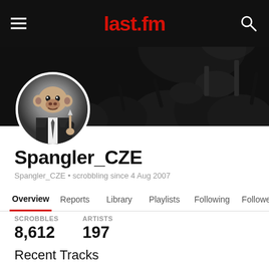last.fm
[Figure (photo): Profile banner with dark concert crowd background and circular avatar of a chimpanzee in a suit holding a knife]
Spangler_CZE
Spangler_CZE • scrobbling since 4 Aug 2007
Overview  Reports  Library  Playlists  Following  Followers
SCROBBLES
8,612
ARTISTS
197
Recent Tracks
All The Same
Sick Puppies